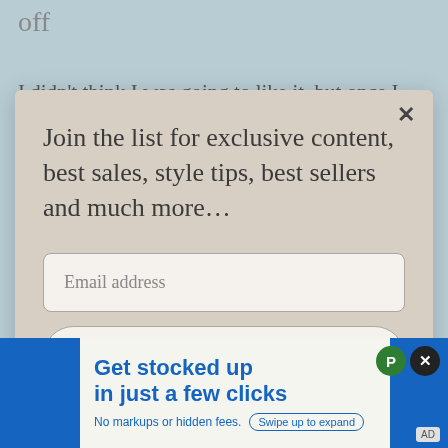off
I didn't think I was going to like it, but once I put in on I changed my mind. It looks sort of luxe. Especially
Join the list for exclusive content, best sales, style tips, best sellers and much more…
Email address
Subscribe
Get stocked up in just a few clicks
No markups or hidden fees.
Swipe up to expand